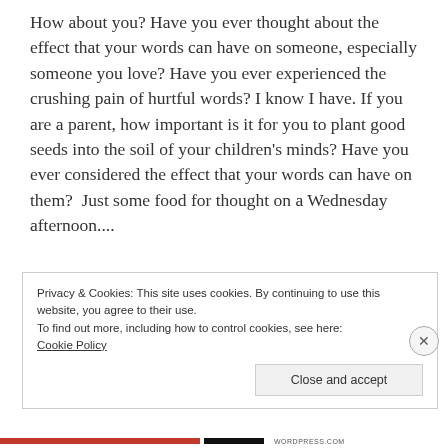How about you? Have you ever thought about the effect that your words can have on someone, especially someone you love? Have you ever experienced the crushing pain of hurtful words? I know I have. If you are a parent, how important is it for you to plant good seeds into the soil of your children's minds? Have you ever considered the effect that your words can have on them?  Just some food for thought on a Wednesday afternoon....
Privacy & Cookies: This site uses cookies. By continuing to use this website, you agree to their use.
To find out more, including how to control cookies, see here:
Cookie Policy